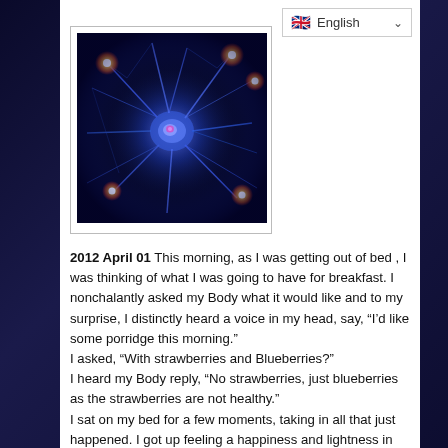[Figure (other): Language selector dropdown showing UK flag and 'English' label with chevron]
[Figure (photo): Glowing blue neuron illustration on dark background with orange firing points]
2012 April 01 This morning, as I was getting out of bed , I was thinking of what I was going to have for breakfast. I nonchalantly asked my Body what it would like and to my surprise, I distinctly heard a voice in my head, say, “I’d like some porridge this morning.”
I asked, “With strawberries and Blueberries?”
I heard my Body reply, “No strawberries, just blueberries as the strawberries are not healthy.”
I sat on my bed for a few moments, taking in all that just happened. I got up feeling a happiness and lightness in my Body that I haven’t felt since I was a child. It brought